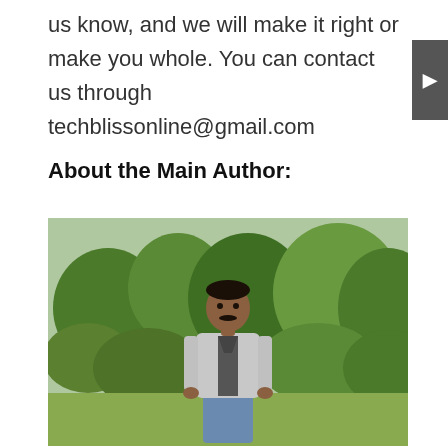us know, and we will make it right or make you whole. You can contact us through techblissonline@gmail.com
About the Main Author:
[Figure (photo): Outdoor photo of a man standing in a garden with green trees and bushes in the background. He is wearing a grey zip-up jacket over a dark shirt and blue jeans.]